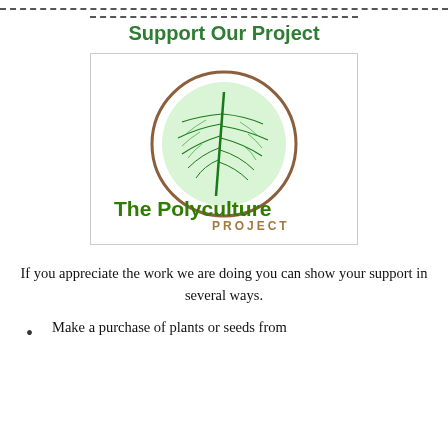Support Our Project
[Figure (logo): The Polyculture Project logo — a green leaf vein pattern inside a brown circle, with 'The Polyculture' in large bold green text and 'PROJECT' in brown spaced capitals below.]
If you appreciate the work we are doing you can show your support in several ways.
Make a purchase of plants or seeds from